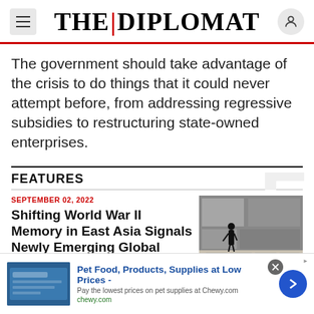THE DIPLOMAT
The government should take advantage of the crisis to do things that it could never attempt before, from addressing regressive subsidies to restructuring state-owned enterprises.
FEATURES
SEPTEMBER 02, 2022
Shifting World War II Memory in East Asia Signals Newly Emerging Global Alliances
[Figure (photo): A person silhouetted in a museum or gallery with display cases and large wall photographs, likely a World War II memorial or exhibition.]
Pet Food, Products, Supplies at Low Prices - Pay the lowest prices on pet supplies at Chewy.com chewy.com